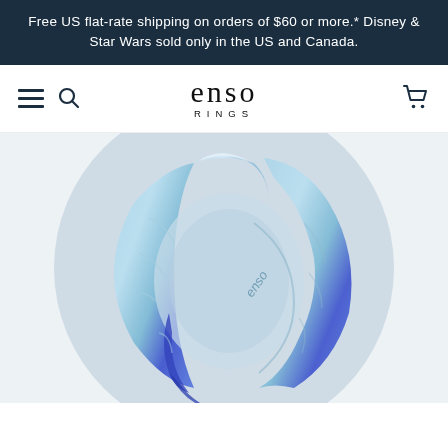Free US flat-rate shipping on orders of $60 or more.* Disney & Star Wars sold only in the US and Canada.
[Figure (logo): Enso Rings logo with hamburger menu, search icon, and cart icon in navigation bar]
[Figure (photo): Blue and purple marbled silicone ring by Enso Rings, shown at an angle with the Enso brand name visible on the inner surface, displayed on a light blue circular background]